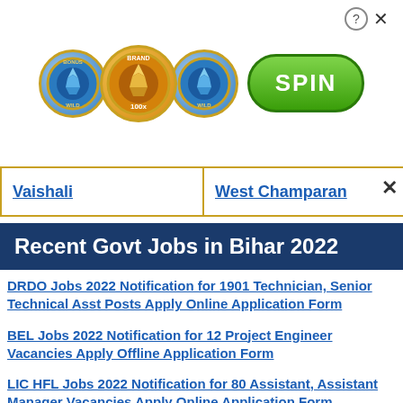[Figure (illustration): Casino-style advertisement banner with three diamond poker chip coins and a green SPIN button. Small question mark and X close icons in top right corner.]
Vaishali | West Champaran
Recent Govt Jobs in Bihar 2022
DRDO Jobs 2022 Notification for 1901 Technician, Senior Technical Asst Posts Apply Online Application Form
BEL Jobs 2022 Notification for 12 Project Engineer Vacancies Apply Offline Application Form
LIC HFL Jobs 2022 Notification for 80 Assistant, Assistant Manager Vacancies Apply Online Application Form
UPSC Jobs 2022 Notification for 27 Assistant Director